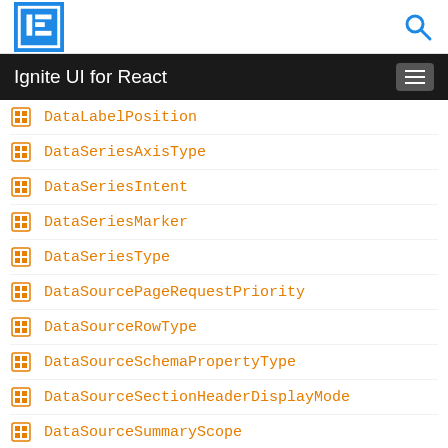Ignite UI for React
DataLabelPosition
DataSeriesAxisType
DataSeriesIntent
DataSeriesMarker
DataSeriesType
DataSourcePageRequestPriority
DataSourceRowType
DataSourceSchemaPropertyType
DataSourceSectionHeaderDisplayMode
DataSourceSummaryScope
DataValidationCriteria